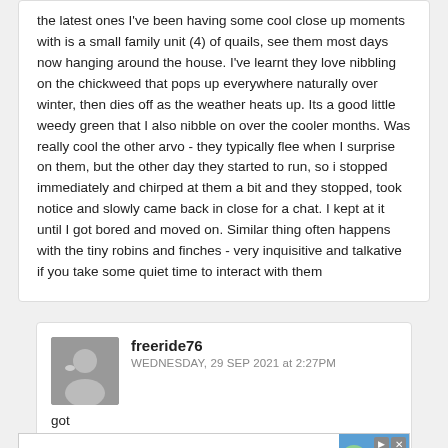the latest ones I've been having some cool close up moments with is a small family unit (4) of quails, see them most days now hanging around the house. I've learnt they love nibbling on the chickweed that pops up everywhere naturally over winter, then dies off as the weather heats up. Its a good little weedy green that I also nibble on over the cooler months. Was really cool the other arvo - they typically flee when I surprise on them, but the other day they started to run, so i stopped immediately and chirped at them a bit and they stopped, took notice and slowly came back in close for a chat. I kept at it until I got bored and moved on. Similar thing often happens with the tiny robins and finches - very inquisitive and talkative if you take some quiet time to interact with them
freeride76
WEDNESDAY, 29 SEP 2021 at 2:27PM
got
[Figure (other): Advertisement banner for Royal Uno resort: 'ALL PARADISE INCLUDED', royalunoresort.com, 888-721-4453, BOOK NOW button]